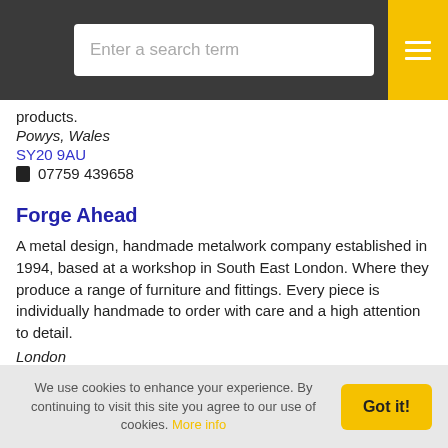[Figure (screenshot): Navigation bar with search input and hamburger menu button]
products.
Powys, Wales
SY20 9AU
07759 439658
Forge Ahead
A metal design, handmade metalwork company established in 1994, based at a workshop in South East London. Where they produce a range of furniture and fittings. Every piece is individually handmade to order with care and a high attention to detail.
London
SE8 5HB
020 8691 8989
We use cookies to enhance your experience. By continuing to visit this site you agree to our use of cookies. More info